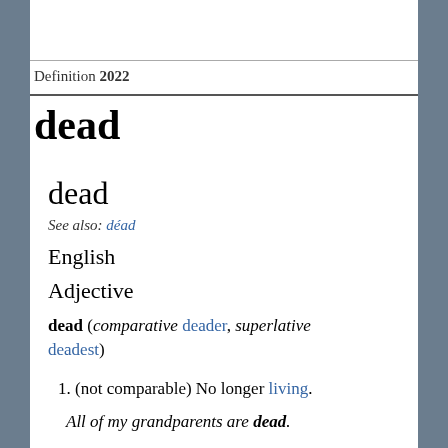Definition 2022
dead
dead
See also: déad
English
Adjective
dead (comparative deader, superlative deadest)
1. (not comparable) No longer living.
All of my grandparents are dead.